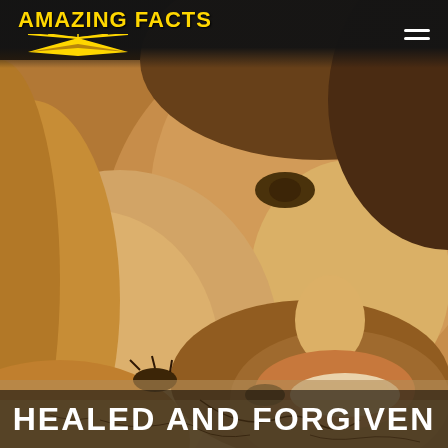[Figure (photo): Close-up photograph of a smiling couple, a blonde woman and a bearded man, cheek to cheek, in warm sepia/golden tones. Background shows cracked earth texture at the bottom.]
AMAZING FACTS
HEALED AND FORGIVEN